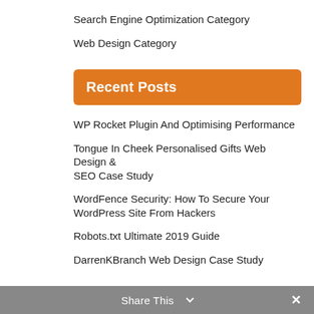Search Engine Optimization Category
Web Design Category
Recent Posts
WP Rocket Plugin And Optimising Performance
Tongue In Cheek Personalised Gifts Web Design & SEO Case Study
WordFence Security: How To Secure Your WordPress Site From Hackers
Robots.txt Ultimate 2019 Guide
DarrenKBranch Web Design Case Study
Share This ∨  ✕